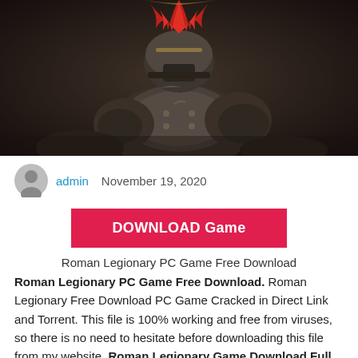[Figure (photo): A Roman gladiator or legionary in dark metallic armor with a red-plumed helmet, crouched in combat pose against a dark background]
admin  November 19, 2020
[Figure (other): Red download button with white bold text reading DOWNLOAD Game]
Roman Legionary PC Game Free Download
Roman Legionary PC Game Free Download. Roman Legionary Free Download PC Game Cracked in Direct Link and Torrent. This file is 100% working and free from viruses, so there is no need to hesitate before downloading this file from my website. Roman Legionary Game Download Full version highly